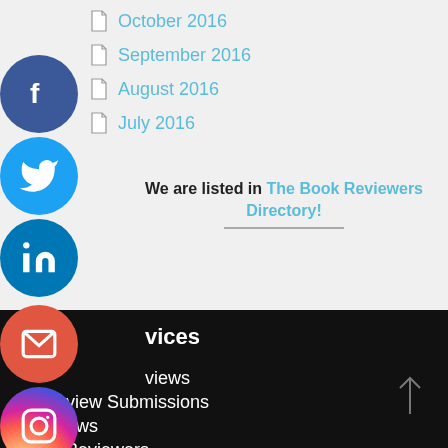October 2016
September 2016
August 2016
July 2016
We are listed in The Book Reviewers Directory!
[Figure (illustration): Social media icons: Facebook (dark blue circle), Twitter (light blue circle), LinkedIn (blue circle), Email (red circle with envelope), Instagram (gradient circle)]
vices
views
Interview Submissions
Reviews
Our Reviewers